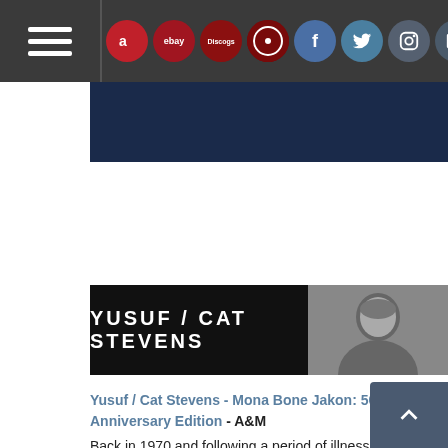Navigation bar with hamburger menu and social/marketplace icons: Amazon, eBay, Discogs, Rate Your Music, Facebook, Twitter, Instagram, Email
[Figure (illustration): Dark navy blue banner/hero image strip]
[Figure (photo): Yusuf / Cat Stevens artist banner: black background with white bold text 'YUSUF / CAT STEVENS' and a black-and-white portrait photo of Cat Stevens on the right]
Yusuf / Cat Stevens - Mona Bone Jakon: 50th Anniversary Edition - A&M
Back in 1970 and following a period of illness and recuperation, singer-songwriting troubadour Cat Stevens re-emerged with a new record deal with Island Records and a spiritual and artistic rebirth. 'Mona Bone Jakon', his first album for Island, showcased a markedly different change in direction for Cat, unveiling with it a remarkable set of new compositions that included classics like 'Trouble', 'Maybe You're Right' and the UK hit single 'Lady D'Arbanville'. To commemorate the album's 50th anniversary comes this definitive and lavish portrait of 'Mona Bone Jakon'.